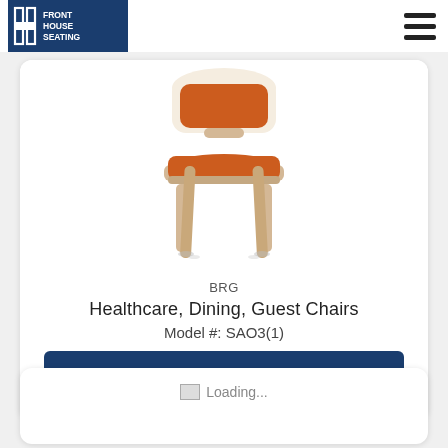[Figure (logo): Front House Seating logo — blue square with stylized H grid and text FRONT HOUSE SEATING]
[Figure (photo): A dining/guest chair with light natural wood frame and orange upholstered seat and back]
BRG
Healthcare, Dining, Guest Chairs
Model #: SAO3(1)
Request Quote
Loading...